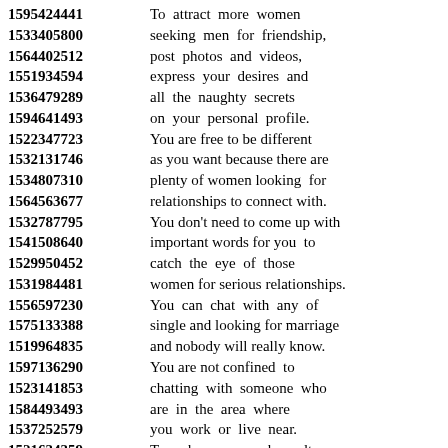1595424441 To attract more women
1533405800 seeking men for friendship,
1564402512 post photos and videos,
1551934594 express your desires and
1536479289 all the naughty secrets
1594641493 on your personal profile.
1522347723 You are free to be different
1532131746 as you want because there are
1534807310 plenty of women looking for
1564563677 relationships to connect with.
1532787795 You don't need to come up with
1541508640 important words for you to
1529950452 catch the eye of those
1531984481 women for serious relationships.
1556597230 You can chat with any of
1575133388 single and looking for marriage
1519964835 and nobody will really know.
1597136290 You are not confined to
1523141853 chatting with someone who
1584493493 are in the area where
1537252579 you work or live near.
1521634359 To make your search results
1571668843 uncomplicated, and simple
1522634727 system designed for women
1531549398 looking for single men,